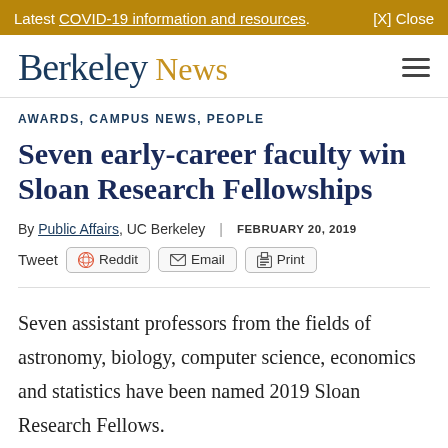Latest COVID-19 information and resources. [X] Close
Berkeley News
AWARDS, CAMPUS NEWS, PEOPLE
Seven early-career faculty win Sloan Research Fellowships
By Public Affairs, UC Berkeley | FEBRUARY 20, 2019
Tweet  Reddit  Email  Print
Seven assistant professors from the fields of astronomy, biology, computer science, economics and statistics have been named 2019 Sloan Research Fellows.